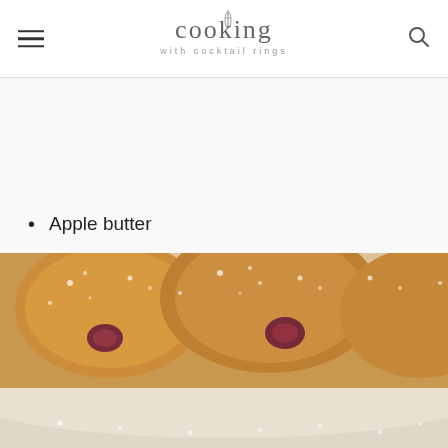cooking with cocktail rings
Apple butter
[Figure (photo): Close-up photo of powdered sugar-dusted filled donuts with jam filling visible, placed on parchment paper. Top portion shows warm golden-brown donuts with powdered sugar and dark jam filling.]
[Figure (photo): Bottom portion of donut photo showing lighter colored bottom of donut with powdered sugar on a surface.]